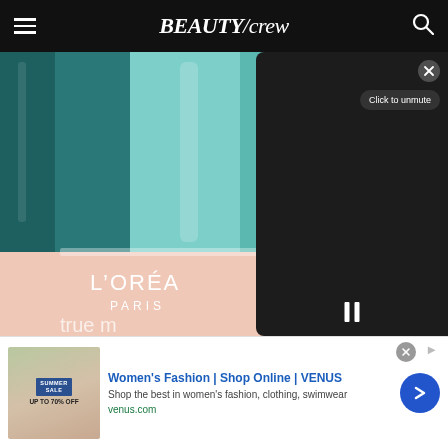BEAUTY/crew
[Figure (screenshot): Screenshot of BeautyCrew website showing L'Oreal Paris True Match product bottles in teal/mint colors on the left, and a dark video overlay panel on the right with a close button (X) and 'Click to unmute' button and pause controls]
[Figure (screenshot): Advertisement banner: 'Women's Fashion | Shop Online | VENUS' - Shop the best in women's fashion, clothing, swimwear - venus.com, with a Summer Sale thumbnail image on left and blue arrow CTA button on right]